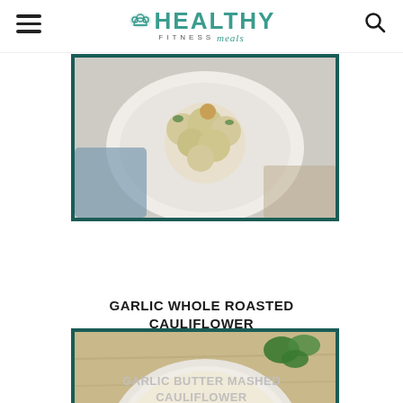HEALTHY FITNESS meals
[Figure (photo): Top view of a plate with garlic whole roasted cauliflower garnished with herbs]
GARLIC WHOLE ROASTED CAULIFLOWER
[Figure (photo): A bowl of garlic butter mashed cauliflower with olive oil swirl and chopped parsley garnish on a wooden board]
GARLIC BUTTER MASHED CAULIFLOWER